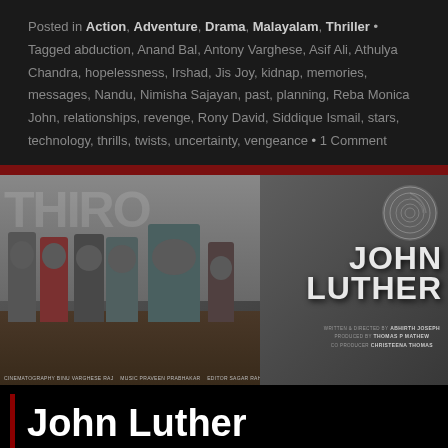Posted in Action, Adventure, Drama, Malayalam, Thriller • Tagged abduction, Anand Bal, Antony Varghese, Asif Ali, Athulya Chandra, hopelessness, Irshad, Jis Joy, kidnap, memories, messages, Nandu, Nimisha Sajayan, past, planning, Reba Monica John, relationships, revenge, Rony David, Siddique Ismail, stars, technology, thrills, twists, uncertainty, vengeance • 1 Comment
[Figure (photo): Movie promotional poster for John Luther showing a group of men walking outdoors with greenery in background on the left side, and the title JOHN LUTHER in bold stylized text on the right with a fingerprint graphic. Credits list: Written/directed by Abhirth Joseph, Produced by Thomas P Mathew, Co-Producer Christeena Thomas. Bottom credits partially visible.]
John Luther